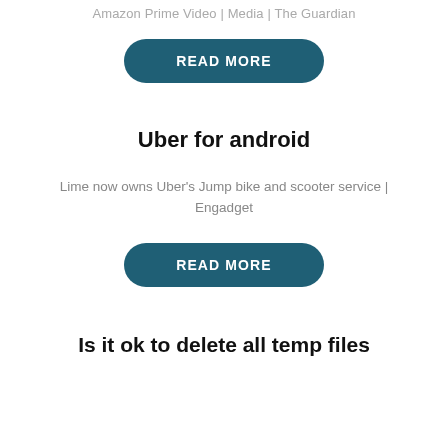Amazon Prime Video | Media | The Guardian
READ MORE
Uber for android
Lime now owns Uber's Jump bike and scooter service | Engadget
READ MORE
Is it ok to delete all temp files